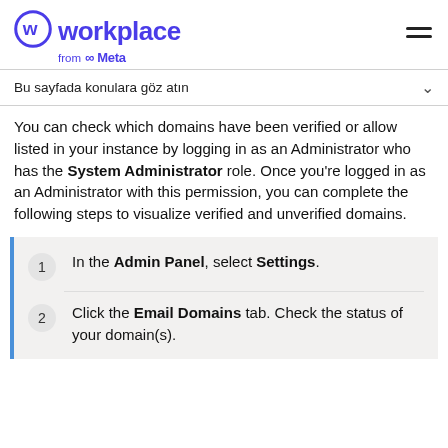workplace from Meta
Bu sayfada konulara göz atın
You can check which domains have been verified or allow listed in your instance by logging in as an Administrator who has the System Administrator role. Once you're logged in as an Administrator with this permission, you can complete the following steps to visualize verified and unverified domains.
1. In the Admin Panel, select Settings.
2. Click the Email Domains tab. Check the status of your domain(s).